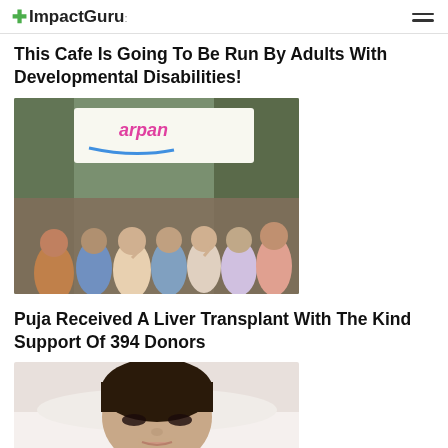ImpactGuru
This Cafe Is Going To Be Run By Adults With Developmental Disabilities!
[Figure (photo): Group photo of adults with developmental disabilities standing in front of an 'arpan' banner outdoors]
Puja Received A Liver Transplant With The Kind Support Of 394 Donors
[Figure (photo): Woman with eyes closed resting in a hospital bed after liver transplant]